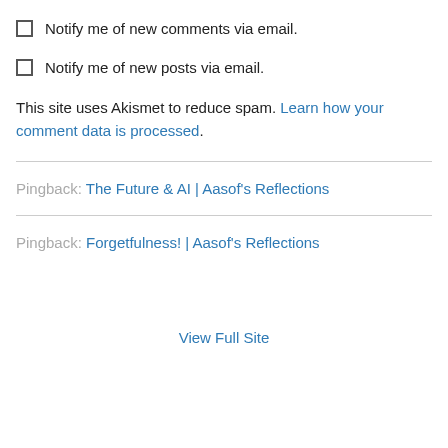Notify me of new comments via email.
Notify me of new posts via email.
This site uses Akismet to reduce spam. Learn how your comment data is processed.
Pingback: The Future & AI | Aasof's Reflections
Pingback: Forgetfulness! | Aasof's Reflections
View Full Site